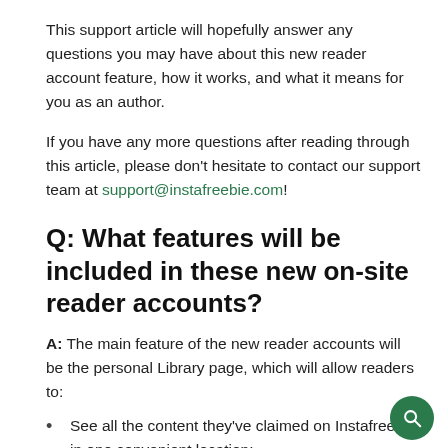This support article will hopefully answer any questions you may have about this new reader account feature, how it works, and what it means for you as an author.
If you have any more questions after reading through this article, please don't hesitate to contact our support team at support@instafreebie.com!
Q: What features will be included in these new on-site reader accounts?
A: The main feature of the new reader accounts will be the personal Library page, which will allow readers to:
See all the content they've claimed on Instafreebie in one convenient location;
Search through their claims;
Sort their claims by date claimed, title and author name;
Archive books they've already read;